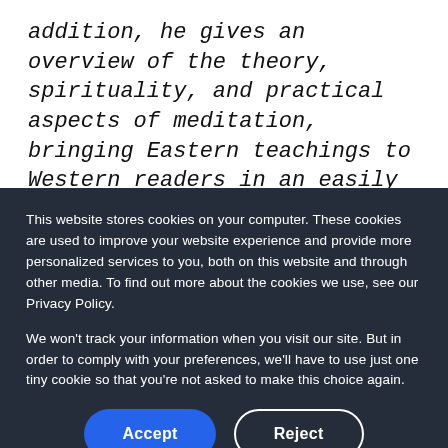addition, he gives an overview of the theory, spirituality, and practical aspects of meditation, bringing Eastern teachings to Western readers in an easily understood format." - BetterUp Coach Julianne Davidow, PCC
This website stores cookies on your computer. These cookies are used to improve your website experience and provide more personalized services to you, both on this website and through other media. To find out more about the cookies we use, see our Privacy Policy.
We won't track your information when you visit our site. But in order to comply with your preferences, we'll have to use just one tiny cookie so that you're not asked to make this choice again.